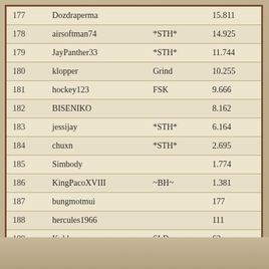| 177 | Dozdraperma |  | 15.811 |
| 178 | airsoftman74 | *STH* | 14.925 |
| 179 | JayPanther33 | *STH* | 11.744 |
| 180 | klopper | Grind | 10.255 |
| 181 | hockey123 | FSK | 9.666 |
| 182 | BISENIKO |  | 8.162 |
| 183 | jessijay | *STH* | 6.164 |
| 184 | chuxn | *STH* | 2.695 |
| 185 | Simbody |  | 1.774 |
| 186 | KingPacoXVIII | ~BH~ | 1.381 |
| 187 | bungmotmui |  | 177 |
| 188 | hercules1966 |  | 111 |
| 189 | Koldx | SLD | 63 |
| 190 | johnboy232 |  | 42 |
| 191 | Troubles | CoF | 39 |
| 192 | TRGD | 300 | 9 |
| 193 | artmac9181 | *STH* | 1 |